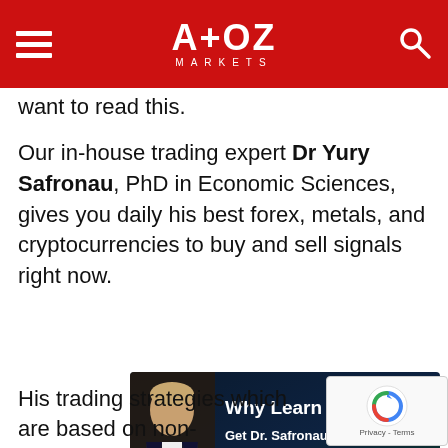A+OZ MARKETS
want to read this.
Our in-house trading expert Dr Yury Safronau, PhD in Economic Sciences, gives you daily his best forex, metals, and cryptocurrencies to buy and sell signals right now.
[Figure (infographic): Advertisement banner for A+OZ Markets featuring a man in a suit with text 'Why Learn Trading? Get Dr. Safronau's Signals' and a green SIGN UP button on a dark background.]
His trading strategies which are based on non-dynamic models have achieved more than $5,000...